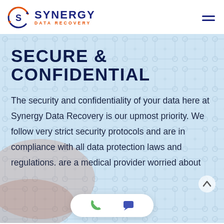[Figure (logo): Synergy Data Recovery logo with circular S icon in blue and orange, text 'SYNERGY' in dark navy bold and 'DATA RECOVERY' in orange below]
SECURE & CONFIDENTIAL
The security and confidentiality of your data here at Synergy Data Recovery is our upmost priority. We follow very strict security protocols and are in compliance with all data protection laws and regulations. are a medical provider worried about